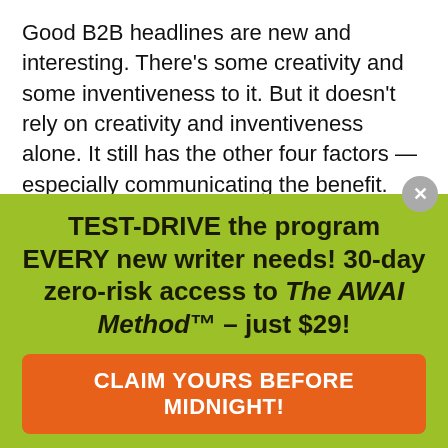Good B2B headlines are new and interesting. There's some creativity and some inventiveness to it. But it doesn't rely on creativity and inventiveness alone. It still has the other four factors — especially communicating the benefit. The best headline is fresh and unique because that helps to gain attention.
Do all great and effective B2B headlines have those five characteristics? No, they don't. But if you can get all five, then you can be quite confident you have a headline that can potentially outperform well...
TEST-DRIVE the program EVERY new writer needs! 30-day zero-risk access to The AWAI Method™ – just $29!
CLAIM YOURS BEFORE MIDNIGHT!